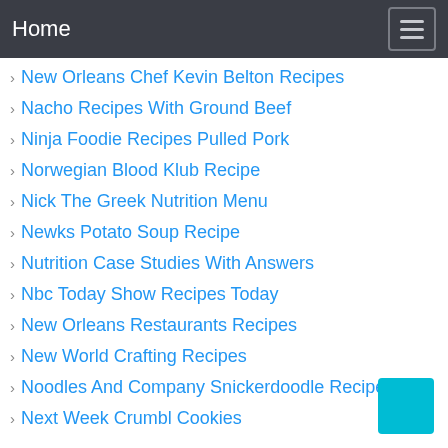Home
New Orleans Chef Kevin Belton Recipes
Nacho Recipes With Ground Beef
Ninja Foodie Recipes Pulled Pork
Norwegian Blood Klub Recipe
Nick The Greek Nutrition Menu
Newks Potato Soup Recipe
Nutrition Case Studies With Answers
Nbc Today Show Recipes Today
New Orleans Restaurants Recipes
New World Crafting Recipes
Noodles And Company Snickerdoodle Recipe
Next Week Crumbl Cookies